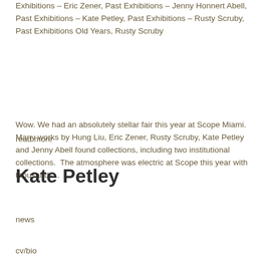Exhibitions – Eric Zener, Past Exhibitions – Jenny Honnert Abell, Past Exhibitions – Kate Petley, Past Exhibitions – Rusty Scruby, Past Exhibitions Old Years, Rusty Scruby
Wow. We had an absolutely stellar fair this year at Scope Miami.  Many works by Hung Liu, Eric Zener, Rusty Scruby, Kate Petley and Jenny Abell found collections, including two institutional collections.  The atmosphere was electric at Scope this year with thousands...
read more
Kate Petley
news
cv/bio